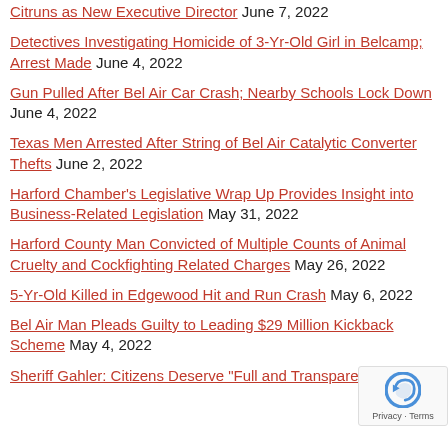Citruns as New Executive Director June 7, 2022
Detectives Investigating Homicide of 3-Yr-Old Girl in Belcamp; Arrest Made June 4, 2022
Gun Pulled After Bel Air Car Crash; Nearby Schools Lock Down June 4, 2022
Texas Men Arrested After String of Bel Air Catalytic Converter Thefts June 2, 2022
Harford Chamber's Legislative Wrap Up Provides Insight into Business-Related Legislation May 31, 2022
Harford County Man Convicted of Multiple Counts of Animal Cruelty and Cockfighting Related Charges May 26, 2022
5-Yr-Old Killed in Edgewood Hit and Run Crash May 6, 2022
Bel Air Man Pleads Guilty to Leading $29 Million Kickback Scheme May 4, 2022
Sheriff Gahler: Citizens Deserve "Full and Transparent